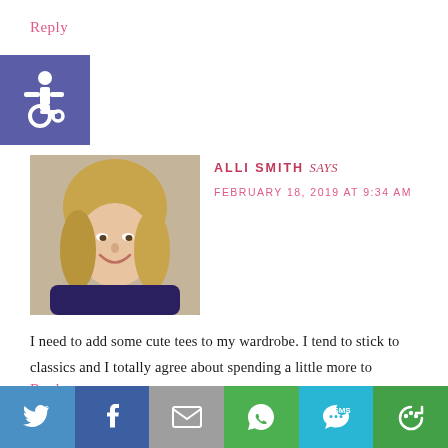Reply
[Figure (illustration): Accessibility/wheelchair icon on purple-blue square background]
ALLI SMITH says
FEBRUARY 18, 2019 AT 9:34 AM
[Figure (photo): Portrait photo of a smiling blonde woman]
I need to add some cute tees to my wardrobe. I tend to stick to classics and I totally agree about spending a little more to maximize my investment.
Reply
[Figure (infographic): Social share bar with Twitter, Facebook, Email, WhatsApp, SMS, and More icons]